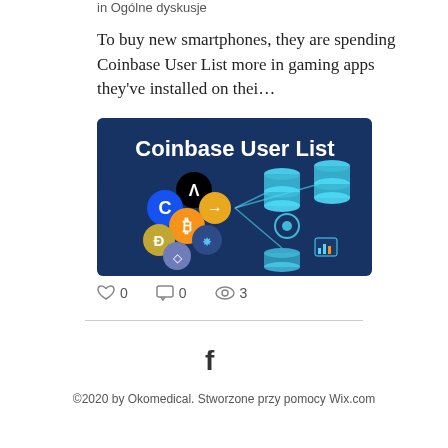in Ogólne dyskusje
To buy new smartphones, they are spending Coinbase User List more in gaming apps they've installed on thei…
[Figure (illustration): Coinbase User List promotional banner showing cryptocurrency logos (Arweave, Coinbase, Bitcoin, Dogecoin, Cardano, Ethereum) and database/server icons on a blue background]
0  0  3
©2020 by Okomedical. Stworzone przy pomocy Wix.com